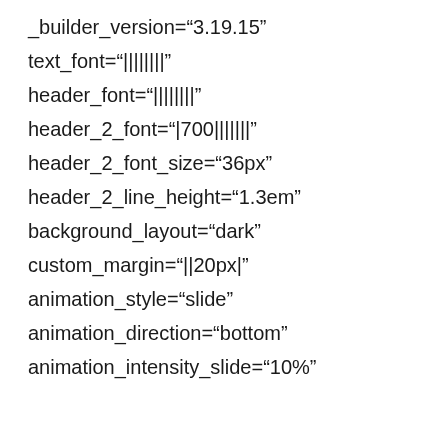_builder_version="3.19.15"
text_font="||||||||"
header_font="||||||||"
header_2_font="|700|||||||"
header_2_font_size="36px"
header_2_line_height="1.3em"
background_layout="dark"
custom_margin="||20px|"
animation_style="slide"
animation_direction="bottom"
animation_intensity_slide="10%"